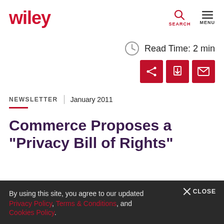wiley | SEARCH | MENU
Read Time: 2 min
NEWSLETTER | January 2011
Commerce Proposes a "Privacy Bill of Rights"
By using this site, you agree to our updated Privacy Policy, Terms & Conditions, and Cookies Policy.